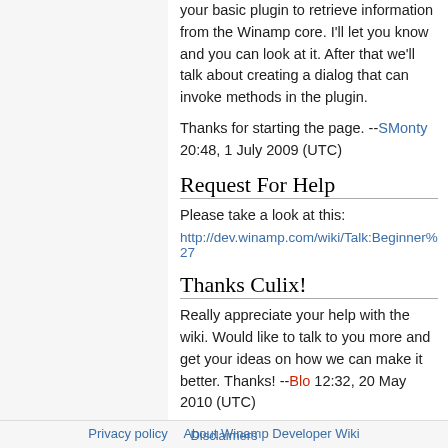your basic plugin to retrieve information from the Winamp core. I'll let you know and you can look at it. After that we'll talk about creating a dialog that can invoke methods in the plugin.
Thanks for starting the page. --SMonty 20:48, 1 July 2009 (UTC)
Request For Help
Please take a look at this:
http://dev.winamp.com/wiki/Talk:Beginner%27
Thanks Culix!
Really appreciate your help with the wiki. Would like to talk to you more and get your ideas on how we can make it better. Thanks! --Blo 12:32, 20 May 2010 (UTC)
Privacy policy   About Winamp Developer Wiki   Disclaimers